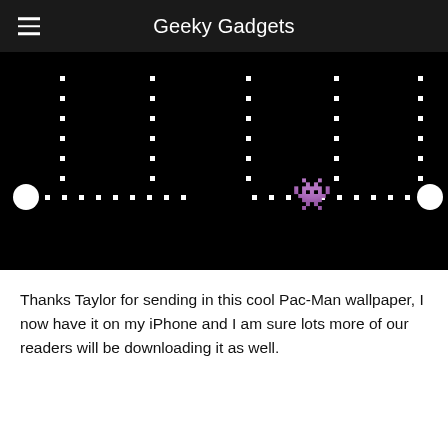Geeky Gadgets
[Figure (screenshot): Pac-Man wallpaper on black background showing dots arranged in a grid pattern with Pac-Man character (yellow) in the center-right area, and two large white circles on the left and right edges of a horizontal row.]
Thanks Taylor for sending in this cool Pac-Man wallpaper, I now have it on my iPhone and I am sure lots more of our readers will be downloading it as well.